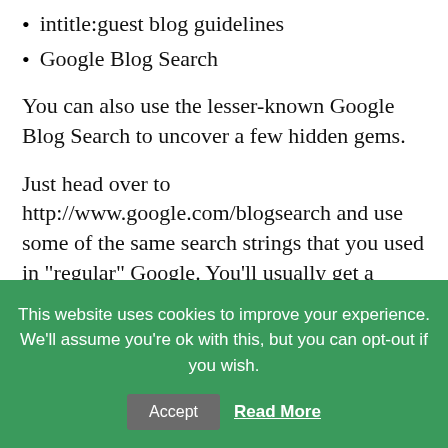intitle:guest blog guidelines
Google Blog Search
You can also use the lesser-known Google Blog Search to uncover a few hidden gems.
Just head over to http://www.google.com/blogsearch and use some of the same search strings that you used in “regular” Google. You’ll usually get a completely different set of results!
This website uses cookies to improve your experience. We’ll assume you’re ok with this, but you can opt-out if you wish.